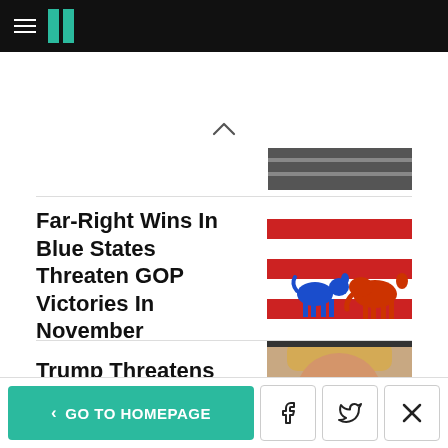HuffPost navigation bar with hamburger menu and logo
Far-Right Wins In Blue States Threaten GOP Victories In November
[Figure (photo): Blue donkey and red elephant facing each other on a red and white striped American flag background]
Trump Threatens 'Major Motion' Based On Fourth
[Figure (photo): Close-up photo of Donald Trump]
< GO TO HOMEPAGE